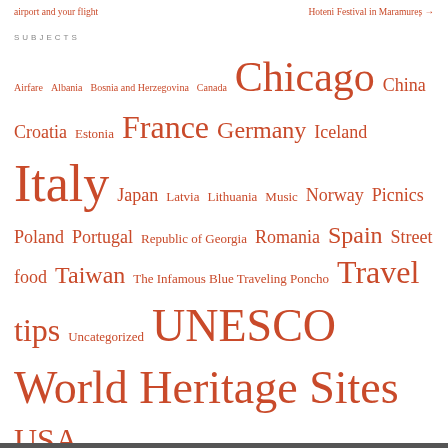airport and your flight | Hoteni Festival in Maramureș →
SUBJECTS
Airfare  Albania  Bosnia and Herzegovina  Canada  Chicago  China  Croatia  Estonia  France  Germany  Iceland  Italy  Japan  Latvia  Lithuania  Music  Norway  Picnics  Poland  Portugal  Republic of Georgia  Romania  Spain  Street food  Taiwan  The Infamous Blue Traveling Poncho  Travel tips  Uncategorized  UNESCO World Heritage Sites  USA
THIS BLOG HAS BEEN FEATURED ON FRESHLY PRESSED!
[Figure (logo): WordPress Freshly Pressed badge — blue rectangle with WordPress logo and text 'FEATURED ON Freshly Pressed']